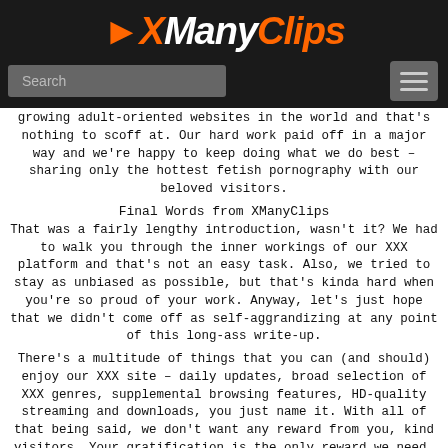[Figure (logo): XManyClips logo with stylized X in orange, 'Many' in white italic, 'Clips' in orange italic on dark background]
Search
growing adult-oriented websites in the world and that's nothing to scoff at. Our hard work paid off in a major way and we're happy to keep doing what we do best – sharing only the hottest fetish pornography with our beloved visitors.
Final Words from XManyClips
That was a fairly lengthy introduction, wasn't it? We had to walk you through the inner workings of our XXX platform and that's not an easy task. Also, we tried to stay as unbiased as possible, but that's kinda hard when you're so proud of your work. Anyway, let's just hope that we didn't come off as self-aggrandizing at any point of this long-ass write-up.
There's a multitude of things that you can (and should) enjoy our XXX site – daily updates, broad selection of XXX genres, supplemental browsing features, HD-quality streaming and downloads, you just name it. With all of that being said, we don't want any reward from you, kind visitors. Your gratification is the only reward we need, no matter how weird that might sound. There's one small thing we would like to ask you about, though.
Please bookmark this page on our way out. We know that some of you think that this is not necessary, but you doing that would boost our rating and help us reach a wider audience. In addition to that,